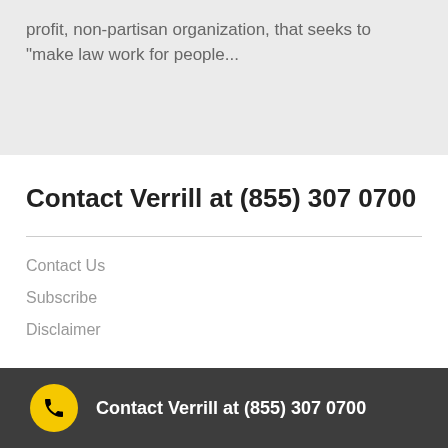profit, non-partisan organization, that seeks to "make law work for people...
Contact Verrill at (855) 307 0700
Contact Us
Subscribe
Disclaimer
Contact Verrill at (855) 307 0700